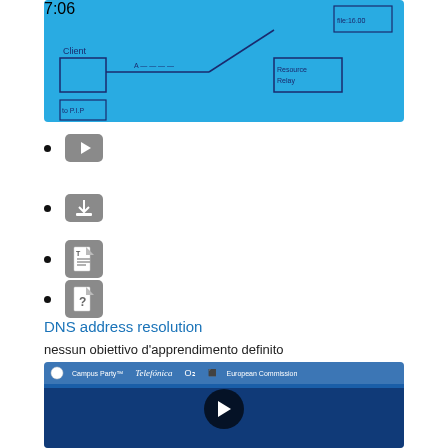[Figure (screenshot): Video thumbnail with blue background showing a DNS diagram sketch, play button in center, duration 7:06 in bottom right]
YouTube play icon button
Download icon button
Document/text icon button
Unknown/question mark document icon button
DNS address resolution
nessun obiettivo d'apprendimento definito
[Figure (screenshot): Video thumbnail showing two men at a conference with Campus Party, Telefonica, O2, European Commission logos on blue backdrop, play button overlay]